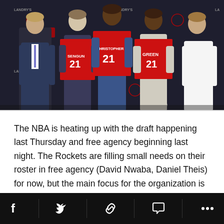[Figure (photo): Photo of Houston Rockets NBA draft press conference. Five people stand in front of a dark backdrop with Landry's and Toyota Center logos. Three players in the middle hold up red Houston Rockets #21 jerseys with names SENGUN, CHRISTOPHER, and GREEN. Two men in suits stand on either side.]
The NBA is heating up with the draft happening last Thursday and free agency beginning last night. The Rockets are filling small needs on their roster in free agency (David Nwaba, Daniel Theis) for now, but the main focus for the organization is still on the four first-rounders that the Rockets drafted.
Social share bar with icons: Facebook, Twitter, Link, Comment, More